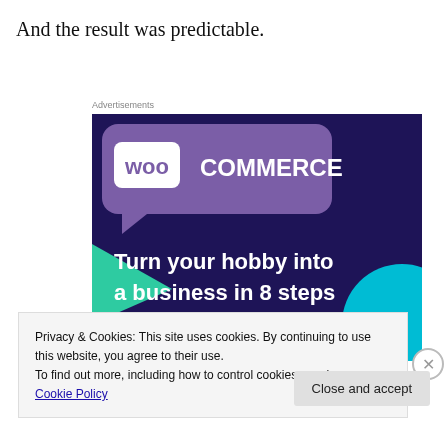And the result was predictable.
Advertisements
[Figure (illustration): WooCommerce advertisement banner with dark purple background, purple speech bubble logo with 'WOO COMMERCE' text, teal triangle shape, cyan circle, text reading 'Turn your hobby into a business in 8 steps']
Privacy & Cookies: This site uses cookies. By continuing to use this website, you agree to their use.
To find out more, including how to control cookies, see here: Cookie Policy
Close and accept